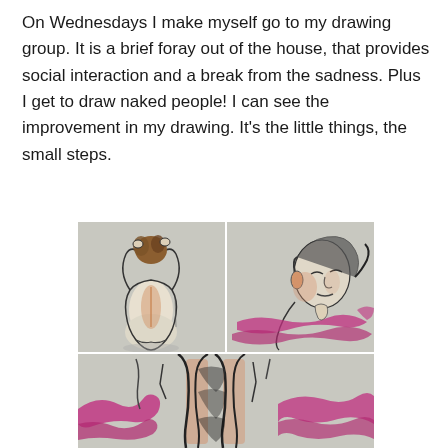On Wednesdays I make myself go to my drawing group. It is a brief foray out of the house, that provides social interaction and a break from the sadness. Plus I get to draw naked people! I can see the improvement in my drawing. It's the little things, the small steps.
[Figure (illustration): Two figure drawings side by side (top row) and one figure drawing below (bottom row). Left top: charcoal/pastel sketch of a nude figure from behind with arms raised, showing brown hair and orange pastel highlights on the back. Right top: charcoal/pastel sketch of a figure's face and upper body leaning forward, with pink/magenta pastel scribbles at the bottom. Bottom: partial sketch of legs/lower body with magenta and orange pastel marks.]